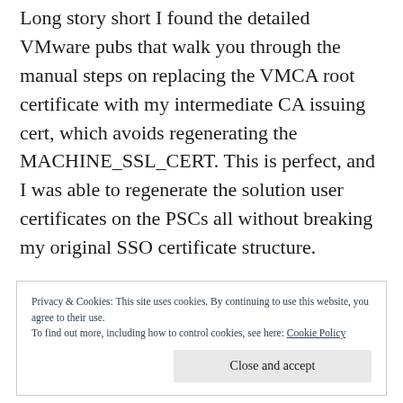Long story short I found the detailed VMware pubs that walk you through the manual steps on replacing the VMCA root certificate with my intermediate CA issuing cert, which avoids regenerating the MACHINE_SSL_CERT. This is perfect, and I was able to regenerate the solution user certificates on the PSCs all without breaking my original SSO certificate structure.
Privacy & Cookies: This site uses cookies. By continuing to use this website, you agree to their use.
To find out more, including how to control cookies, see here: Cookie Policy